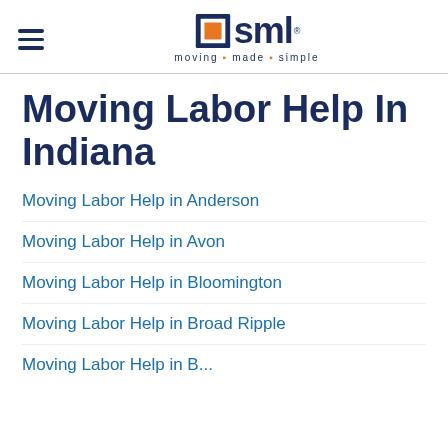SML - moving made simple
Moving Labor Help In Indiana
Moving Labor Help in Anderson
Moving Labor Help in Avon
Moving Labor Help in Bloomington
Moving Labor Help in Broad Ripple
Moving Labor Help in...